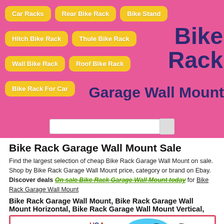[Figure (screenshot): Navigation banner with yellow rounded button links on pink background]
Bike Rack Garage Wall Mount Sale
Find the largest selection of cheap Bike Rack Garage Wall Mount on sale. Shop by Bike Rack Garage Wall Mount price, category or brand on Ebay. Discover deals On sale Bike Rack Garage Wall Mount today for Bike Rack Garage Wall Mount
Bike Rack Garage Wall Mount, Bike Rack Garage Wall Mount Horizontal, Bike Rack Garage Wall Mount Vertical,
[Figure (photo): Product image of bike rack wall mount hooks, showing USA US STOCK branding and 2Pcs label, with bicycle image]